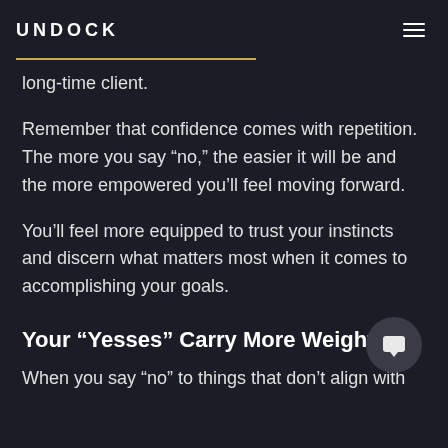UNDOCK
long-time client.
Remember that confidence comes with repetition. The more you say “no,” the easier it will be and the more empowered you’ll feel moving forward.
You’ll feel more equipped to trust your instincts and discern what matters most when it comes to accomplishing your goals.
Your “Yesses” Carry More Weight
When you say “no” to things that don’t align with